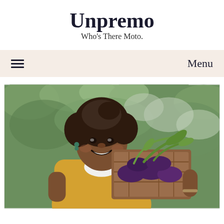Unpremo
Who’s There Moto.
≡  Menu
[Figure (photo): A smiling woman of Pacific Islander descent holding a wooden crate filled with eggplants/aubergines with green stems, wearing a yellow jacket, standing outdoors in front of lush green foliage.]